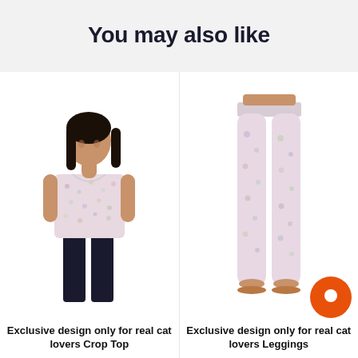You may also like
[Figure (photo): Woman wearing a floral pattern crop top with dark jeans, sleeveless, standing front-facing.]
Exclusive design only for real cat lovers Crop Top
[Figure (photo): Lower body of a woman wearing floral pattern leggings, barefoot, standing front-facing.]
Exclusive design only for real cat lovers Leggings